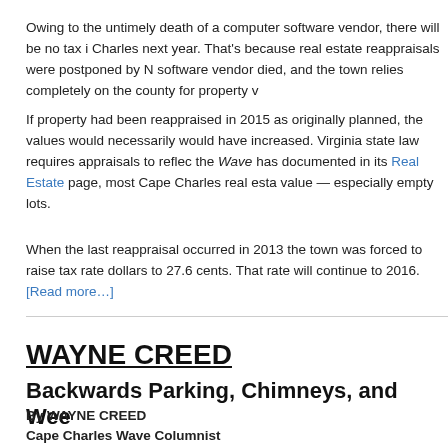Owing to the untimely death of a computer software vendor, there will be no tax i Charles next year. That's because real estate reappraisals were postponed by N software vendor died, and the town relies completely on the county for property v
If property had been reappraised in 2015 as originally planned, the values would necessarily would have increased. Virginia state law requires appraisals to reflec the Wave has documented in its Real Estate page, most Cape Charles real esta value — especially empty lots.
When the last reappraisal occurred in 2013 the town was forced to raise tax rate dollars to 27.6 cents. That rate will continue to 2016. [Read more…]
WAYNE CREED
Backwards Parking, Chimneys, and Wee
By WAYNE CREED
Cape Charles Wave Columnist
June 1, 2015
In last week's Wave, it was reported that a smaller version of Virginia Beach's gia donated by patron Wyndham Price, and would be placed on the boardwalk. Wha offers an interesting hub, using new technologies, that is appropriate and enticing